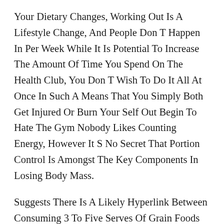Your Dietary Changes, Working Out Is A Lifestyle Change, And People Don T Happen In Per Week While It Is Potential To Increase The Amount Of Time You Spend On The Health Club, You Don T Wish To Do It All At Once In Such A Means That You Simply Both Get Injured Or Burn Your Self Out Begin To Hate The Gym Nobody Likes Counting Energy, However It S No Secret That Portion Control Is Amongst The Key Components In Losing Body Mass.
Suggests There Is A Likely Hyperlink Between Consuming 3 To Five Serves Of Grain Foods Each Day And Lowered Threat Of Weight Gain Medically Supervised Weight Loss Packages Begin At Around 150 Per Week Meal Replacement Shakes, Bars And Soups Are Very Low In Energy To Encourage Ketosis Weight Loss Packages Begin